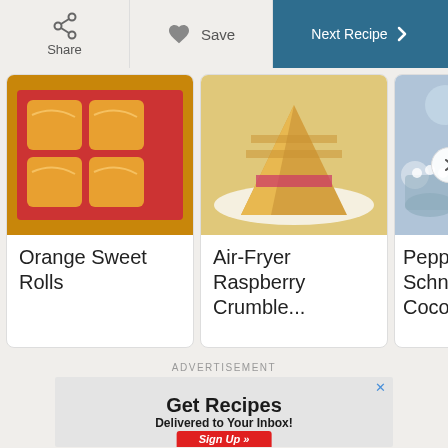Share | Save | Next Recipe
[Figure (photo): Orange Sweet Rolls in a red baking dish]
Orange Sweet Rolls
[Figure (photo): Air-Fryer Raspberry Crumble scones on a plate]
Air-Fryer Raspberry Crumble...
[Figure (photo): Peppermint Schnapps Cocoa... partial card]
Peppermint Schnapps Cocoa...
ADVERTISEMENT
[Figure (infographic): Advertisement banner: Get Recipes Delivered to Your Inbox! Sign Up button]